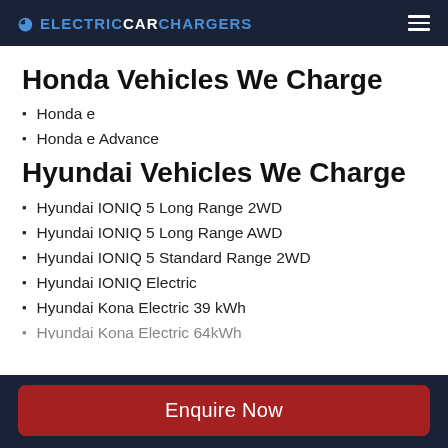ELECTRICCARCHARGERS
Honda Vehicles We Charge
Honda e
Honda e Advance
Hyundai Vehicles We Charge
Hyundai IONIQ 5 Long Range 2WD
Hyundai IONIQ 5 Long Range AWD
Hyundai IONIQ 5 Standard Range 2WD
Hyundai IONIQ Electric
Hyundai Kona Electric 39 kWh
Hyundai Kona Electric 64kWh (partially visible)
Enquire Now